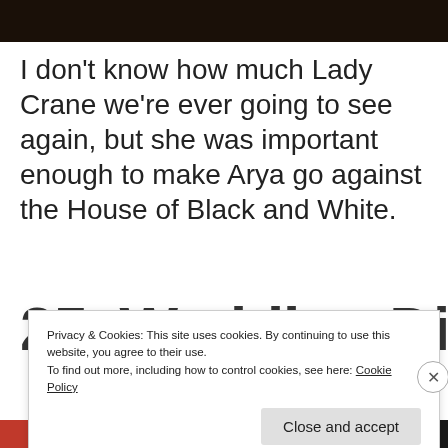[Figure (photo): Dark image visible at top of page, dark brownish tones]
I don't know how much Lady Crane we're ever going to see again, but she was important enough to make Arya go against the House of Black and White.
25. Wedding Di...
Privacy & Cookies: This site uses cookies. By continuing to use this website, you agree to their use.
To find out more, including how to control cookies, see here: Cookie Policy
Close and accept